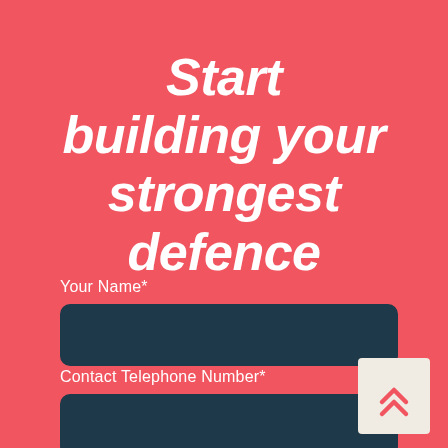Start building your strongest defence
Your Name*
Contact Telephone Number*